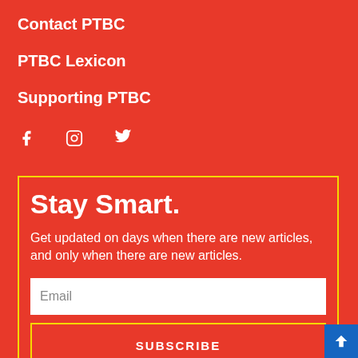Contact PTBC
PTBC Lexicon
Supporting PTBC
[Figure (infographic): Social media icons: Facebook, Instagram, Twitter]
Stay Smart.
Get updated on days when there are new articles, and only when there are new articles.
Email
SUBSCRIBE
No spam, easy to cancel.
Information not sold, rented, or lent to anyone.